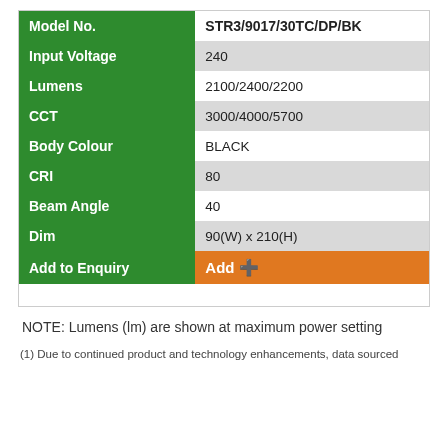| Attribute | Value |
| --- | --- |
| Model No. | STR3/9017/30TC/DP/BK |
| Input Voltage | 240 |
| Lumens | 2100/2400/2200 |
| CCT | 3000/4000/5700 |
| Body Colour | BLACK |
| CRI | 80 |
| Beam Angle | 40 |
| Dim | 90(W) x 210(H) |
| Add to Enquiry | Add + |
NOTE: Lumens (lm) are shown at maximum power setting
(1) Due to continued product and technology enhancements, data sourced